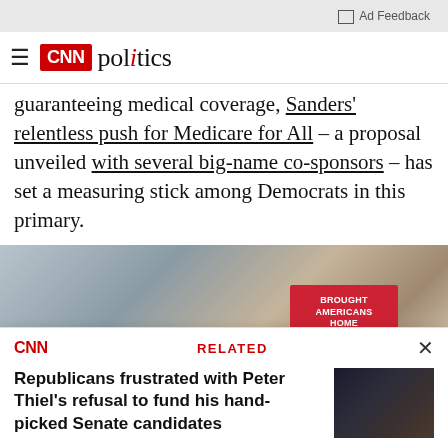Ad Feedback
[Figure (logo): CNN Politics navigation bar with hamburger menu, CNN red logo, and 'politics' text in serif font with italic red 'i']
guaranteeing medical coverage, Sanders' relentless push for Medicare for All – a proposal unveiled with several big-name co-sponsors – has set a measuring stick among Democrats in this primary.
[Figure (photo): Photo of a person wearing a tan/grey jacket, holding a red booklet/pamphlet with white text about bringing Americans home]
CNN RELATED × Republicans frustrated with Peter Thiel's refusal to fund his hand-picked Senate candidates